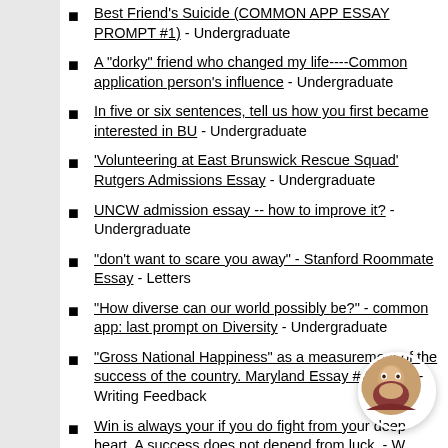Best Friend's Suicide (COMMON APP ESSAY PROMPT #1) - Undergraduate
A "dorky" friend who changed my life----Common application person's influence - Undergraduate
In five or six sentences, tell us how you first became interested in BU - Undergraduate
'Volunteering at East Brunswick Rescue Squad' Rutgers Admissions Essay - Undergraduate
UNCW admission essay -- how to improve it? - Undergraduate
"don't want to scare you away" - Stanford Roommate Essay - Letters
"How diverse can our world possibly be?" - common app: last prompt on Diversity - Undergraduate
"Gross National Happiness" as a measurement of the success of the country. Maryland Essay #4 review - Writing Feedback
Win is always your if you do fight from your deep heart. A success does not depend from luck. - W